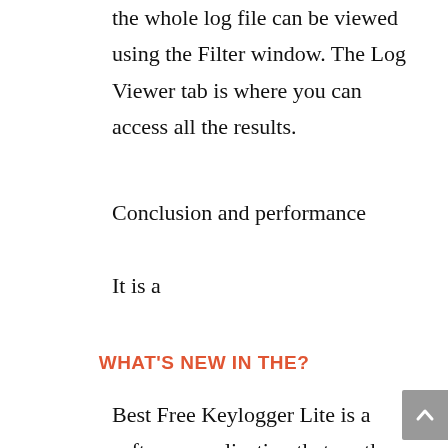the whole log file can be viewed using the Filter window. The Log Viewer tab is where you can access all the results.
Conclusion and performance
It is a
WHAT'S NEW IN THE?
Best Free Keylogger Lite is a software application that, as the name clearly indicates, enables you to log keystrokes. It also packs Clipboard and Internet monitoring. Clear-cut environment The